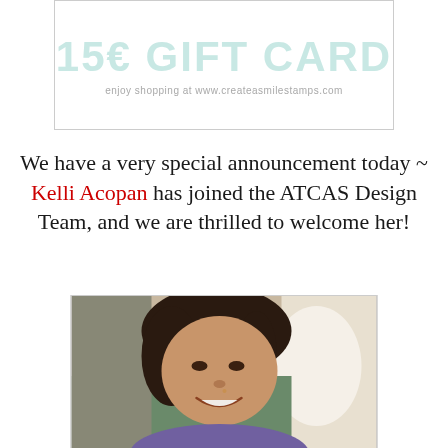[Figure (other): Gift card image showing '15€ GIFT CARD' text in large light teal letters with subtitle 'enjoy shopping at www.createasmilestamps.com']
We have a very special announcement today ~ Kelli Acopan has joined the ATCAS Design Team, and we are thrilled to welcome her!
[Figure (photo): Photo of Kelli Acopan, a woman with dark hair, smiling, appearing to be on an airplane]